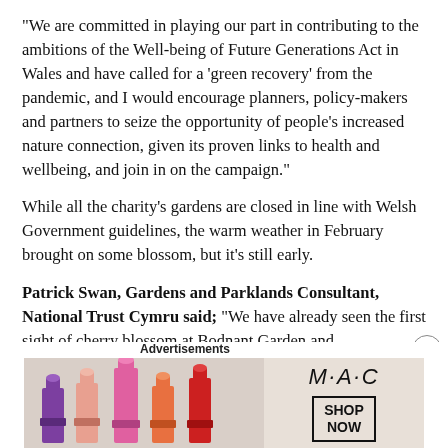“We are committed in playing our part in contributing to the ambitions of the Well-being of Future Generations Act in Wales and have called for a ‘green recovery’ from the pandemic, and I would encourage planners, policy-makers and partners to seize the opportunity of people’s increased nature connection, given its proven links to health and wellbeing, and join in on the campaign.”
While all the charity’s gardens are closed in line with Welsh Government guidelines, the warm weather in February brought on some blossom, but it’s still early.
Patrick Swan, Gardens and Parklands Consultant, National Trust Cymru said; “We have already seen the first sight of cherry blossom at Bodnant Garden and
Advertisements
[Figure (photo): MAC cosmetics advertisement banner showing colorful lipsticks on the left, MAC logo in the center, and a SHOP NOW button on the right against a beige/pink background.]